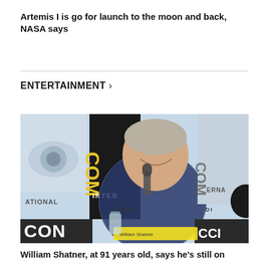Artemis I is go for launch to the moon and back, NASA says
ENTERTAINMENT >
[Figure (photo): William Shatner laughing and speaking into a microphone at Comic-Con International, San Diego. He is wearing a blue and white gingham shirt. The Comic-Con backdrop is visible behind him.]
William Shatner, at 91 years old, says he's still on